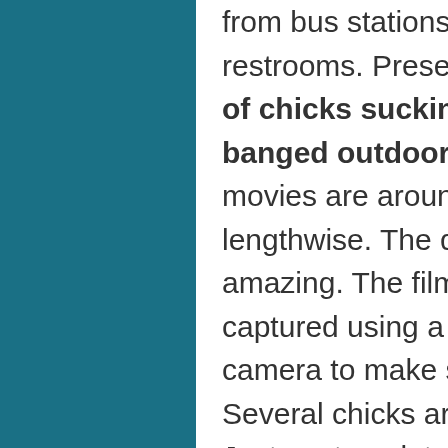from bus stations, alleyways, and public restrooms. Presently, there are 100 films of chicks sucking dicks and getting banged outdoors on My Pickup Girls. The movies are around 20 to 40 minutes lengthwise. The quality of each film amazing. The films must have been captured using a super high definition camera to make such incredible films. Several chicks are also banged on bikes. Just contemplated to put that across. Every clip on My Pickup Girls entails a collection of escorting photos. The images comprise tons of moist cherny